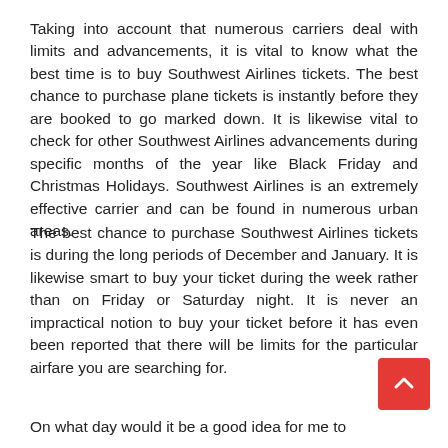Taking into account that numerous carriers deal with limits and advancements, it is vital to know what the best time is to buy Southwest Airlines tickets. The best chance to purchase plane tickets is instantly before they are booked to go marked down. It is likewise vital to check for other Southwest Airlines advancements during specific months of the year like Black Friday and Christmas Holidays. Southwest Airlines is an extremely effective carrier and can be found in numerous urban areas.
The best chance to purchase Southwest Airlines tickets is during the long periods of December and January. It is likewise smart to buy your ticket during the week rather than on Friday or Saturday night. It is never an impractical notion to buy your ticket before it has even been reported that there will be limits for the particular airfare you are searching for.
On what day would it be a good idea for me to